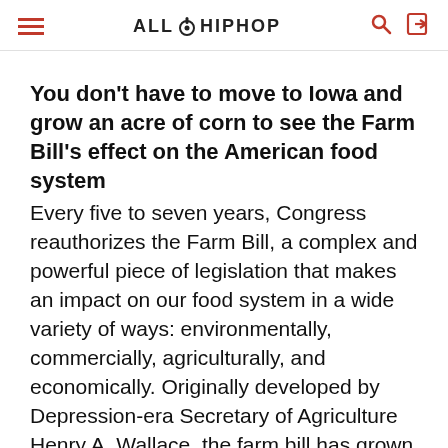ALL HIPHOP
You don’t have to move to Iowa and grow an acre of corn to see the Farm Bill’s effect on the American food system
Every five to seven years, Congress reauthorizes the Farm Bill, a complex and powerful piece of legislation that makes an impact on our food system in a wide variety of ways: environmentally, commercially, agriculturally, and economically. Originally developed by Depression-era Secretary of Agriculture Henry A. Wallace, the farm bill has grown to include a range of considerations, from commodity farming and rural